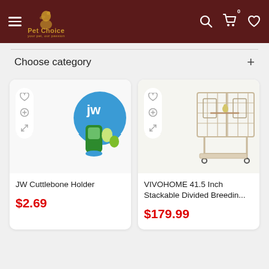Pet [store] navigation header with logo, search, cart (0), and wishlist icons
Choose category  +
[Figure (photo): JW Cuttlebone Holder product image showing a green cuttlebone holder with JW branding and parakeets on packaging]
JW Cuttlebone Holder
$2.69
[Figure (photo): VIVOHOME 41.5 Inch stackable divided breeding cage, white metal wire cage on wheels]
VIVOHOME 41.5 Inch Stackable Divided Breedin...
$179.99